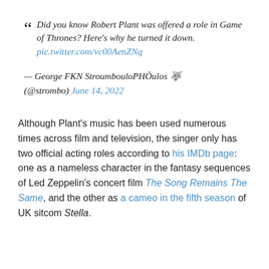“ Did you know Robert Plant was offered a role in Game of Thrones? Here’s why he turned it down. pic.twitter.com/vc00AenZNq — George FKN StroumbouloPHÒulos 🐺 (@strombo) June 14, 2022
Although Plant’s music has been used numerous times across film and television, the singer only has two official acting roles according to his IMDb page: one as a nameless character in the fantasy sequences of Led Zeppelin’s concert film The Song Remains The Same, and the other as a cameo in the fifth season of UK sitcom Stella.